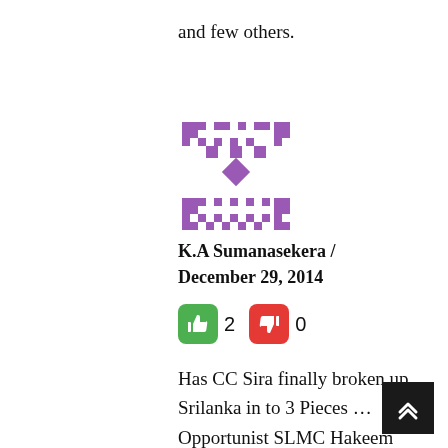and few others.
[Figure (illustration): Purple pixelated QR-code style avatar icon]
K.A Sumanasekera / December 29, 2014
2  0
Has CC Sira finally broken up Srilanka in to 3 Pieces … Opportunist SLMC Hakeem wants the East as a Muslim Homeland to go along with the TNA Tamil Homeland. Ranil has signed the secret pact with Sira on behalf of the TNA. Did Sira sign the pact directly with the SLMC